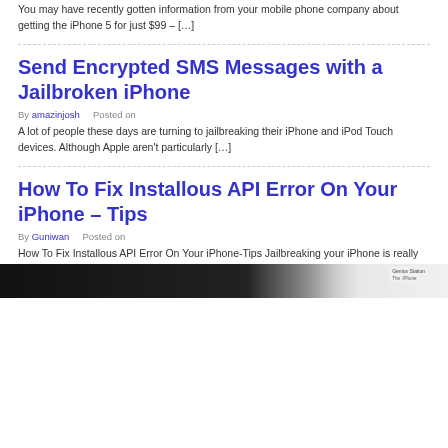You may have recently gotten information from your mobile phone company about getting the iPhone 5 for just $99 – […]
Send Encrypted SMS Messages with a Jailbroken iPhone
By amazinjosh   Posted on
A lot of people these days are turning to jailbreaking their iPhone and iPod Touch devices. Although Apple aren't particularly […]
How To Fix Installous API Error On Your iPhone – Tips
By Guniwan   Posted on
How To Fix Installous API Error On Your iPhone-Tips Jailbreaking your iPhone is really interesting and worth-trying, but there are […]
[Figure (screenshot): Bottom portion of a webpage showing a partial image, dark on left side with a lighter panel on the right labeled Genius Station]